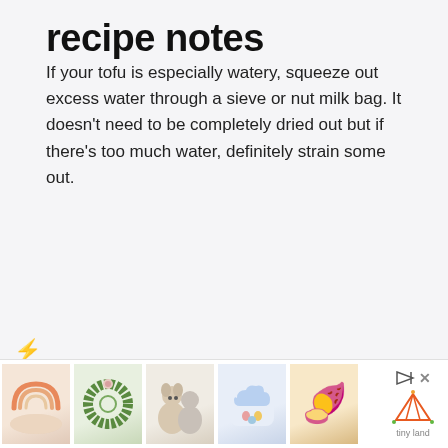recipe notes
If your tofu is especially watery, squeeze out excess water through a sieve or nut milk bag. It doesn't need to be completely dried out but if there's too much water, definitely strain some out.
[Figure (other): Orange lightning bolt icon]
[Figure (infographic): Advertisement bar with product thumbnails: rainbow dish, wreath, plush animals, cloud pillow, pretzel snack; Tiny Land logo with play and close buttons]